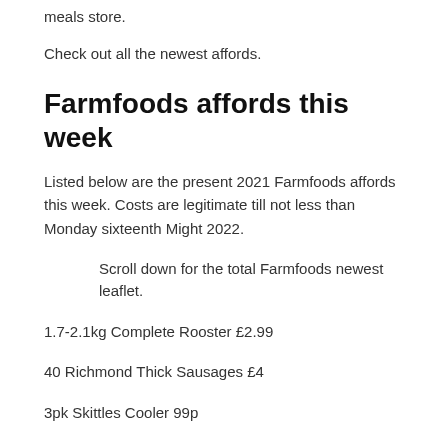meals store.
Check out all the newest affords.
Farmfoods affords this week
Listed below are the present 2021 Farmfoods affords this week. Costs are legitimate till not less than Monday sixteenth Might 2022.
Scroll down for the total Farmfoods newest leaflet.
1.7-2.1kg Complete Rooster £2.99
40 Richmond Thick Sausages £4
3pk Skittles Cooler 99p